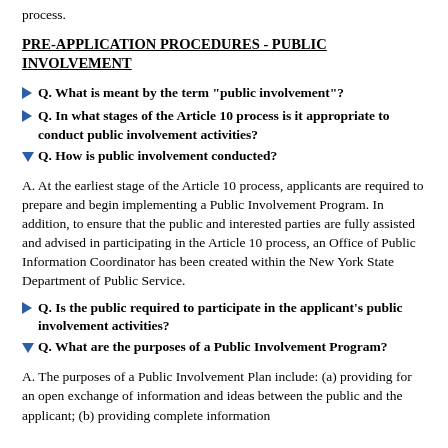process.
PRE-APPLICATION PROCEDURES - PUBLIC INVOLVEMENT
Q. What is meant by the term "public involvement"?
Q. In what stages of the Article 10 process is it appropriate to conduct public involvement activities?
Q. How is public involvement conducted?
A. At the earliest stage of the Article 10 process, applicants are required to prepare and begin implementing a Public Involvement Program. In addition, to ensure that the public and interested parties are fully assisted and advised in participating in the Article 10 process, an Office of Public Information Coordinator has been created within the New York State Department of Public Service.
Q. Is the public required to participate in the applicant's public involvement activities?
Q. What are the purposes of a Public Involvement Program?
A. The purposes of a Public Involvement Plan include: (a) providing for an open exchange of information and ideas between the public and the applicant; (b) providing complete information